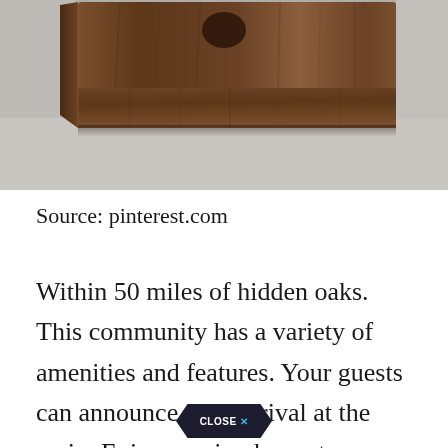[Figure (photo): A dark walnut wood floating shelf or box mounted on a light gray concrete or plaster wall. The wood has visible grain texture and rich brown tones. The wall beneath has a subtle texture.]
Source: pinterest.com
Within 50 miles of hidden oaks. This community has a variety of amenities and features. Your guests can announce their arrival at the main. Enjoy coming home to